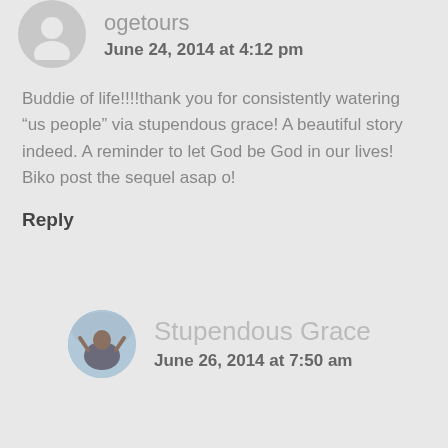ogetours
June 24, 2014 at 4:12 pm
Buddie of life!!!!thank you for consistently watering “us people” via stupendous grace! A beautiful story indeed. A reminder to let God be God in our lives! Biko post the sequel asap o!
Reply
Stupendous Grace
June 26, 2014 at 7:50 am